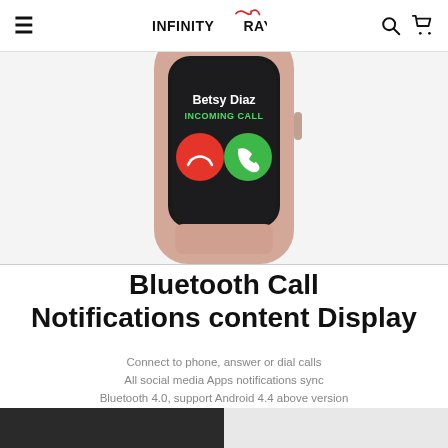Infinity Rays — navigation header with menu, logo, search and cart icons
[Figure (photo): Apple Watch rose gold showing an incoming call from Betsy Diaz with red decline and green accept buttons on dark screen]
Bluetooth Call Notifications content Display
Connect to phone, answer or dial calls
All social media Apps notifications sync
Bluetooth 4.0, support Android 4.4 above version iOS8.0 and above version.